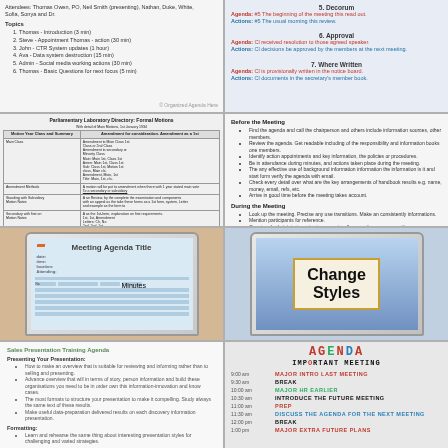Attendees: Thomas Owen, PO, Neil Smith (presenting), Nathan, Duke, White, Sofia, Sonya and Dr.
Topics: 1. Thomas - Introduction (3 min) 2. Steve - Appointment Thomas - action (30 min) 3. John - CTR System updates (1 hour) 4. Ava - Data system destruction (15 min) 5. Admin - Social media working actions (30 min) 6. Thomas - Basic Questions for next focus (5 min)
5. Decorum
Agenda: #5 The beginning of the meeting this read out.
Actions: #5 The usual morning this review.
6. Approval
Agenda: Cl received resolution to those agreed speaker.
Actions: Cl decisions be approved by the members at the next meeting.
7. Where Written
Agenda: Cl is provisionally written in the notice board.
Actions: Cl documents in the secretary's member book.
| Parliamentary Procedure | Minutes |
| --- | --- |
Before the Meeting tips and During the Meeting tips and General tips.
[Figure (screenshot): Laptop screen showing a Meeting Agenda Title template document with lines and an orange arrow pointing to the screen.]
[Figure (screenshot): Laptop screen showing 'Change Styles' text in large bold font on a yellow-bordered box over a blue gradient background.]
Sales Presentation Training Agenda - Presenting Your Presentation bullet points and Formatting and Consulting Clients sections.
AGENDA IMPORTANT MEETING schedule with times and items: MAJOR INTRO LAST MEETING, BREAK, MAJOR HR EARLIER, INTRODUCE THE FUTURE MEETING, PREP, DISCUSS THE AGENDA FOR THE NEXT MEETING, BREAK, MAJOR EXTRA FUTURE PLANS